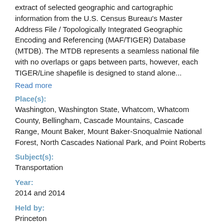extract of selected geographic and cartographic information from the U.S. Census Bureau's Master Address File / Topologically Integrated Geographic Encoding and Referencing (MAF/TIGER) Database (MTDB). The MTDB represents a seamless national file with no overlaps or gaps between parts, however, each TIGER/Line shapefile is designed to stand alone...
Read more
Place(s):
Washington, Washington State, Whatcom, Whatcom County, Bellingham, Cascade Mountains, Cascade Range, Mount Baker, Mount Baker-Snoqualmie National Forest, North Cascades National Park, and Point Roberts
Subject(s):
Transportation
Year:
2014 and 2014
Held by:
Princeton
Rights Statement:
In Copyright
This Item is protected by copyright and/or related rights...